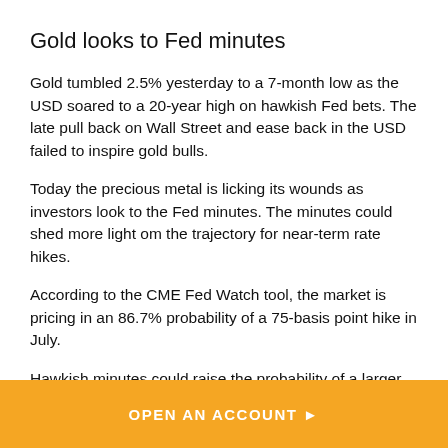Gold looks to Fed minutes
Gold tumbled 2.5% yesterday to a 7-month low as the USD soared to a 20-year high on hawkish Fed bets. The late pull back on Wall Street and ease back in the USD failed to inspire gold bulls.
Today the precious metal is licking its wounds as investors look to the Fed minutes. The minutes could shed more light om the trajectory for near-term rate hikes.
According to the CME Fed Watch tool, the market is pricing in an 86.7% probability of a 75-basis point hike in July.
Hawkish minutes could raise the probability of a larger
OPEN AN ACCOUNT ►